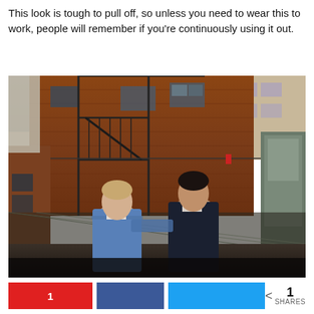This look is tough to pull off, so unless you need to wear this to work, people will remember if you're continuously using it out.
[Figure (photo): Two young men standing in an urban alley with a brick building with fire escapes in the background. The man on the left wears a denim jacket, the man on the right wears a dark jacket. A chain-link fence is visible behind them.]
1  SHARES